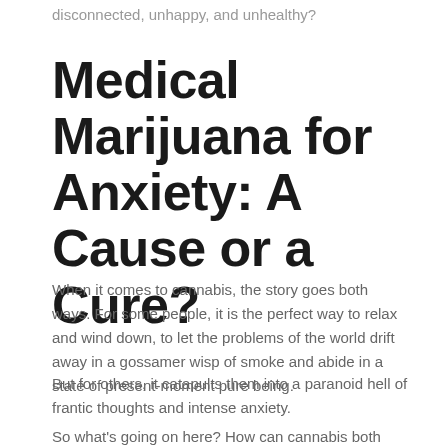disconnected, unhappy, and unhealthy?
Medical Marijuana for Anxiety: A Cause or a Cure?
When it comes to cannabis, the story goes both ways. For some people, it is the perfect way to relax and wind down, to let the problems of the world drift away in a gossamer wisp of smoke and abide in a state of present-moment pure being.
But for others, it catapults them into a paranoid hell of frantic thoughts and intense anxiety.
So what's going on here? How can cannabis both relieve and